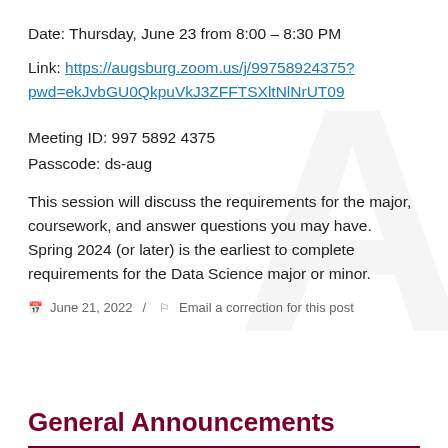Date: Thursday, June 23 from 8:00 – 8:30 PM
Link: https://augsburg.zoom.us/j/99758924375?pwd=ekJvbGU0QkpuVkJ3ZFFTSXltNlNrUT09
Meeting ID: 997 5892 4375
Passcode: ds-aug
This session will discuss the requirements for the major, coursework, and answer questions you may have. Spring 2024 (or later) is the earliest to complete requirements for the Data Science major or minor.
June 21, 2022 / Email a correction for this post
General Announcements